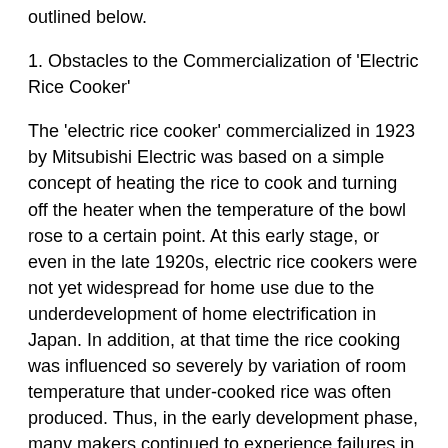outlined below.
1. Obstacles to the Commercialization of 'Electric Rice Cooker'
The 'electric rice cooker' commercialized in 1923 by Mitsubishi Electric was based on a simple concept of heating the rice to cook and turning off the heater when the temperature of the bowl rose to a certain point. At this early stage, or even in the late 1920s, electric rice cookers were not yet widespread for home use due to the underdevelopment of home electrification in Japan. In addition, at that time the rice cooking was influenced so severely by variation of room temperature that under-cooked rice was often produced. Thus, in the early development phase, many makers continued to experience failures in their ongoing trial-and-error approaches [3, 4].
2. Obstacles to the Commercialization of 'Automated Electric Rice Cooker'
Toshiba's 'double-chamber indirect rice cooking model' devised for the 'automated electric rice cooker' took more time for rice cooking and consumed more electricity than